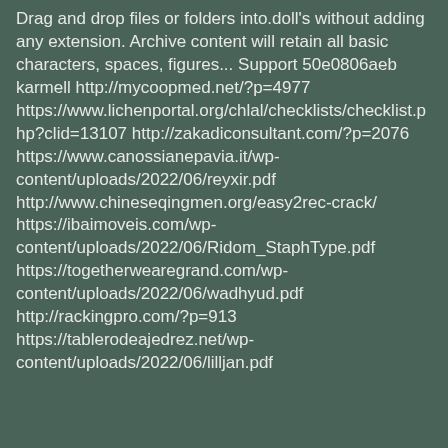Drag and drop files or folders into.doll's without adding any extension. Archive content will retain all basic characters, spaces, figures... Support 50e0806aeb karmell http://mycoopmed.net/?p=4977 https://www.lichenportal.org/chlal/checklists/checklist.php?clid=13107 http://zakadiconsultant.com/?p=2076 https://www.canossianepavia.it/wp-content/uploads/2022/06/reyxir.pdf http://www.chineseqingmen.org/easy2rec-crack/ https://ibaimoveis.com/wp-content/uploads/2022/06/Ridom_StaphType.pdf https://togetherwearegrand.com/wp-content/uploads/2022/06/wadhyud.pdf http://rackingpro.com/?p=913 https://tablerodeajedrez.net/wp-content/uploads/2022/06/lilljan.pdf